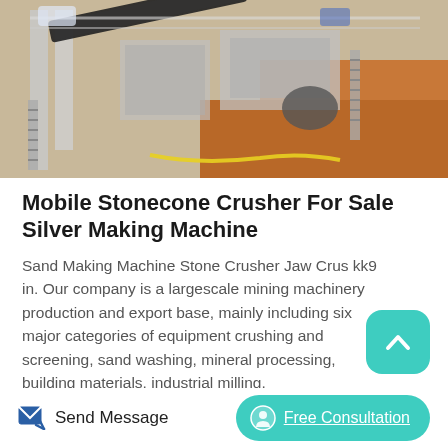[Figure (photo): Aerial view of a mobile stone crushing plant with conveyor belts, screening equipment, metal staircases, and red-orange earthen terrain.]
Mobile Stonecone Crusher For Sale Silver Making Machine
Sand Making Machine Stone Crusher Jaw Crusher kk9 in. Our company is a largescale mining machinery production and export base, mainly including six major categories of equipment crushing and screening, sand washing, mineral processing, building materials, industrial milling.
[Figure (other): Teal rounded square button with upward-pointing chevron/caret icon (scroll to top button)]
[Figure (other): Send Message button with blue edit/message icon]
[Figure (other): Free Consultation teal pill button with headset icon]